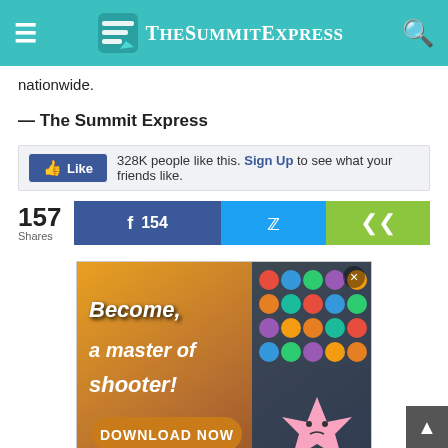TheSummitExpress
nationwide.
— The Summit Express
[Figure (screenshot): Facebook Like button with '328K people like this. Sign Up to see what your friends like.']
[Figure (screenshot): Social share bar showing 157 Shares, Facebook 154 shares button, Twitter share button, and general share button]
[Figure (screenshot): Advertisement banner for Bubble Shooter game with text 'Become a master of shooter!' and 'DOWNLOAD NOW' button]